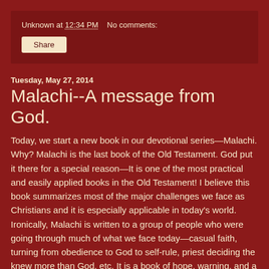Unknown at 12:34 PM   No comments:
Share
Tuesday, May 27, 2014
Malachi--A message from God.
Today, we start a new book in our devotional series—Malachi. Why? Malachi is the last book of the Old Testament. God put it there for a special reason—It is one of the most practical and easily applied books in the Old Testament! I believe this book summarizes most of the major challenges we face as Christians and it is especially applicable in today's world. Ironically, Malachi is written to a group of people who were going through much of what we face today—casual faith, turning from obedience to God to self-rule, priest deciding the knew more than God, etc. It is a book of hope, warning, and a reminder that God loves us too much to just let us fail.
I believe it is very important to note that to really understand